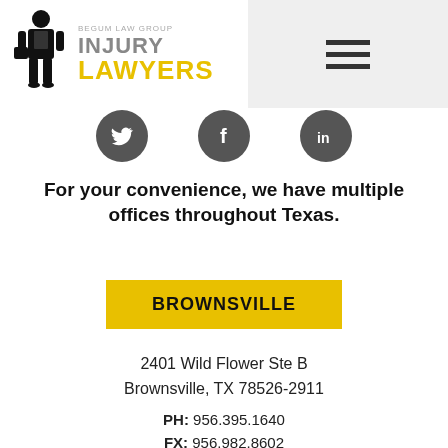[Figure (logo): Begum Law Group Injury Lawyers logo with silhouette figure in suit holding briefcase, text 'BEGUM LAW GROUP' above 'INJURY' in gray and 'LAWYERS' in yellow]
[Figure (infographic): Three circular social media icons: Twitter bird, Facebook f, LinkedIn in — all on dark gray circle backgrounds]
For your convenience, we have multiple offices throughout Texas.
BROWNSVILLE
2401 Wild Flower Ste B
Brownsville, TX 78526-2911
PH: 956.395.1640
FX: 956.982.8602